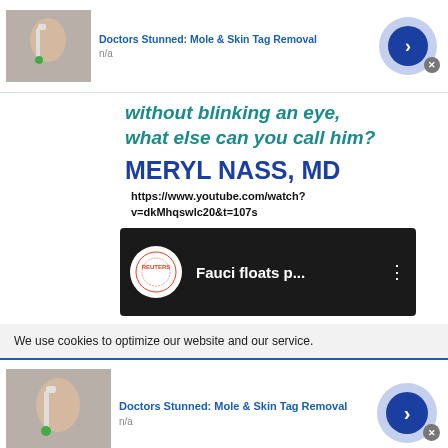[Figure (screenshot): Top ad banner: Doctors Stunned: Mole & Skin Tag Removal, n/a, with thumbnail of person applying brush to face, blue circle arrow button, close X]
without blinking an eye, what else can you call him?
MERYL NASS, MD
https://www.youtube.com/watch?v=dkMhqswlc20&t=107s
[Figure (screenshot): YouTube video thumbnail showing Reuters logo circle and title 'Fauci floats p...' with three dots menu on dark background]
We use cookies to optimize our website and our service.
[Figure (screenshot): Bottom ad banner: Doctors Stunned: Mole & Skin Tag Removal, n/a, with thumbnail of person applying brush to face, blue circle arrow button, close X]